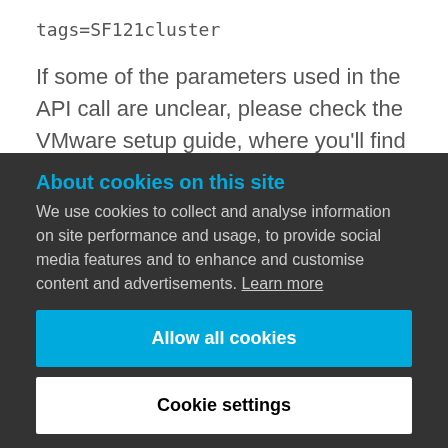tags=SF121cluster
If some of the parameters used in the API call are unclear, please check the VMware setup guide, where you'll find detailed explanations for each important parameter.
For the Compute / Disk offering parameters, it's still required to set Min and Max IOPS as the Storage Quality Of Service parameters – but there
About cookies on this site
We use cookies to collect and analyse information on site performance and usage, to provide social media features and to enhance and customise content and advertisements. Learn more
Allow all cookies
Cookie settings